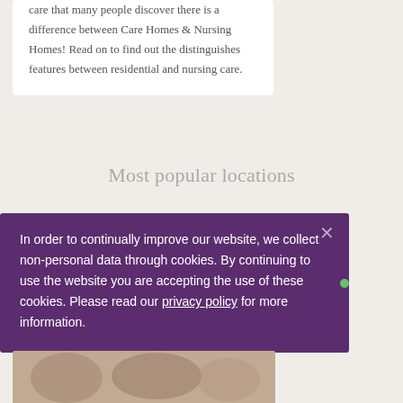care that many people discover there is a difference between Care Homes & Nursing Homes! Read on to find out the distinguishes features between residential and nursing care.
Most popular locations
In order to continually improve our website, we collect non-personal data through cookies. By continuing to use the website you are accepting the use of these cookies. Please read our privacy policy for more information.
[Figure (photo): Photo strip at bottom showing people, partially visible]